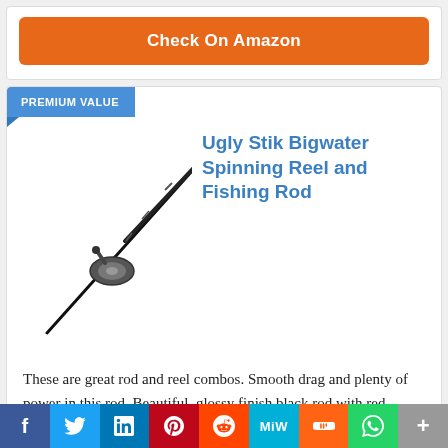Check On Amazon
[Figure (illustration): Ugly Stik Bigwater Spinning Reel and Fishing Rod product image showing a fishing rod with reel, black with dark finish, angled diagonally]
Ugly Stik Bigwater Spinning Reel and Fishing Rod
These are great rod and reel combos. Smooth drag and plenty of power in this rod. Beautiful, glossy finish black rod with red
f  Twitter  in  P  Reddit  MW  Mix  WhatsApp  +